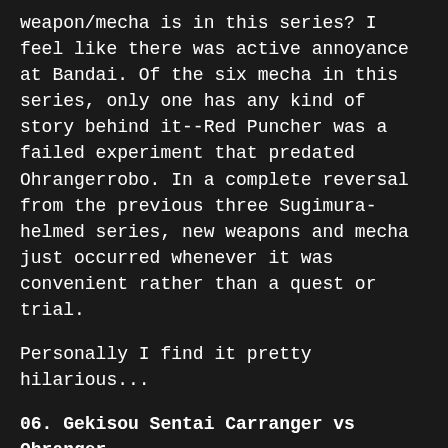weapon/mecha is in this series? I feel like there was active annoyance at Bandai. Of the six mecha in this series, only one has any kind of story behind it--Red Puncher was a failed experiment that predated Ohrangerrobo. In a complete reversal from the previous three Sugimura-helmed series, new weapons and mecha just occurred whenever it was convenient rather than a quest or trial.
Personally I find it pretty hilarious...
06. Gekisou Sentai Carranger vs Ohranger
I used to maintain that Megaranger vs Carranger was my favorite Sentai VS film. As I get older, though, I think I've come to appreciate Carranger vs Ohranger a lot more. It's definitely my favorite VS film for it's sheer absurdity. While it's definitely a Carranger movie, the straight-laced UAOH gang is what gives this movie the charm that Megaranger vs Carranger isn't able to match.
05. The Song Collection